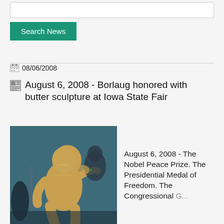Search News
08/06/2008
August 6, 2008 - Borlaug honored with butter sculpture at Iowa State Fair
[Figure (photo): A butter sculpture of a human figure (Borlaug) displayed at the Iowa State Fair, with people visible in the background.]
August 6, 2008 - The Nobel Peace Prize. The Presidential Medal of Freedom. The Congressional